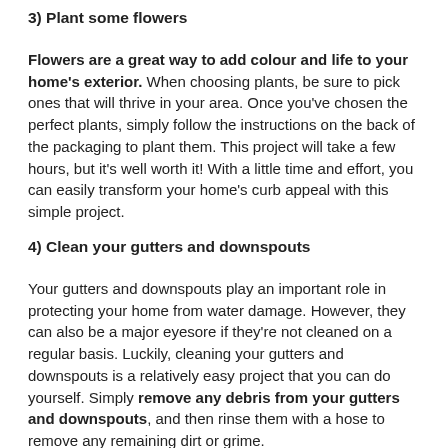3) Plant some flowers
Flowers are a great way to add colour and life to your home's exterior. When choosing plants, be sure to pick ones that will thrive in your area. Once you've chosen the perfect plants, simply follow the instructions on the back of the packaging to plant them. This project will take a few hours, but it's well worth it! With a little time and effort, you can easily transform your home's curb appeal with this simple project.
4) Clean your gutters and downspouts
Your gutters and downspouts play an important role in protecting your home from water damage. However, they can also be a major eyesore if they're not cleaned on a regular basis. Luckily, cleaning your gutters and downspouts is a relatively easy project that you can do yourself. Simply remove any debris from your gutters and downspouts, and then rinse them with a hose to remove any remaining dirt or grime.
In conclusion, these four projects are a great way to improve your home's curb appeal. Pressure washing your home's exterior, painting your front door, planting some flowers, and cleaning your gutters and downspouts are all relatively easy projects that you can do yourself. Plus, they'll make